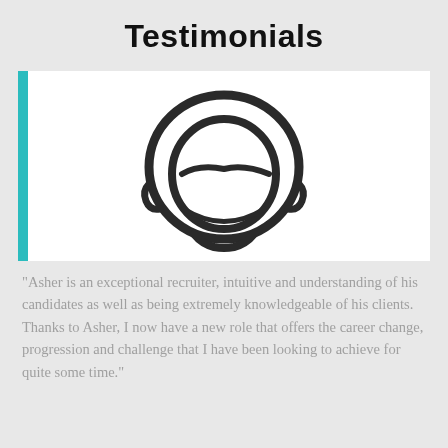Testimonials
[Figure (illustration): A blurred/pixelated outline illustration of a person's head and shoulders (avatar/silhouette), displayed inside a white card with a teal vertical bar on the left side.]
"Asher is an exceptional recruiter, intuitive and understanding of his candidates as well as being extremely knowledgeable of his clients. Thanks to Asher, I now have a new role that offers the career change, progression and challenge that I have been looking to achieve for quite some time."